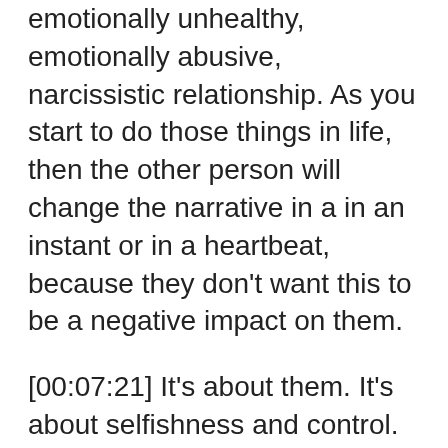emotionally unhealthy, emotionally abusive, narcissistic relationship. As you start to do those things in life, then the other person will change the narrative in a in an instant or in a heartbeat, because they don't want this to be a negative impact on them.
[00:07:21] It's about them. It's about selfishness and control. You will retreat, withdraw, figure. Okay. It must be me. Here comes our abandonment issue. It must be me. It must be the way I'm saying this. Or I must just be unlovable. Something must be wrong with me. The more that you go to that place, then the more that you are having a hard time showing up and expressing your needs in a relationship or your hopes. Your